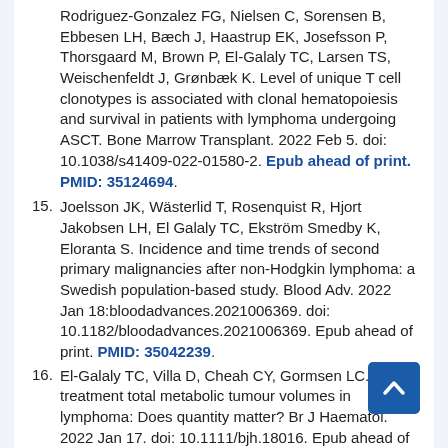Rodriguez-Gonzalez FG, Nielsen C, Sorensen B, Ebbesen LH, Bæch J, Haastrup EK, Josefsson P, Thorsgaard M, Brown P, El-Galaly TC, Larsen TS, Weischenfeldt J, Grønbæk K. Level of unique T cell clonotypes is associated with clonal hematopoiesis and survival in patients with lymphoma undergoing ASCT. Bone Marrow Transplant. 2022 Feb 5. doi: 10.1038/s41409-022-01580-2. Epub ahead of print. PMID: 35124694.
15. Joelsson JK, Wästerlid T, Rosenquist R, Hjort Jakobsen LH, El Galaly TC, Ekström Smedby K, Eloranta S. Incidence and time trends of second primary malignancies after non-Hodgkin lymphoma: a Swedish population-based study. Blood Adv. 2022 Jan 18:bloodadvances.2021006369. doi: 10.1182/bloodadvances.2021006369. Epub ahead of print. PMID: 35042239.
16. El-Galaly TC, Villa D, Cheah CY, Gormsen LC. Pre-treatment total metabolic tumour volumes in lymphoma: Does quantity matter? Br J Haematol. 2022 Jan 17. doi: 10.1111/bjh.18016. Epub ahead of print. PMID: 35037240.
17. Wilson MB, Erre TA, Kirkwood AA, Wong Doo N, Soosai...